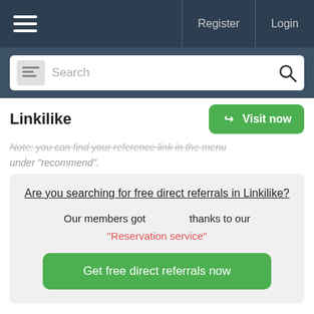Register   Login
Search
Linkilike
Visit now
Note: you can find your reference link in the menu under "recommend".
Are you searching for free direct referrals in Linkilike?
Our members got thanks to our
"Reservation service"
Get free direct referrals now